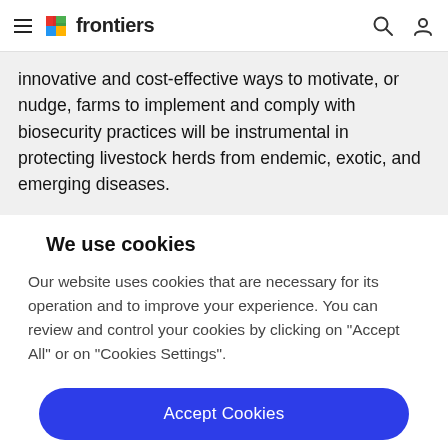frontiers
innovative and cost-effective ways to motivate, or nudge, farms to implement and comply with biosecurity practices will be instrumental in protecting livestock herds from endemic, exotic, and emerging diseases.
We use cookies
Our website uses cookies that are necessary for its operation and to improve your experience. You can review and control your cookies by clicking on "Accept All" or on "Cookies Settings".
Accept Cookies
Cookies Settings